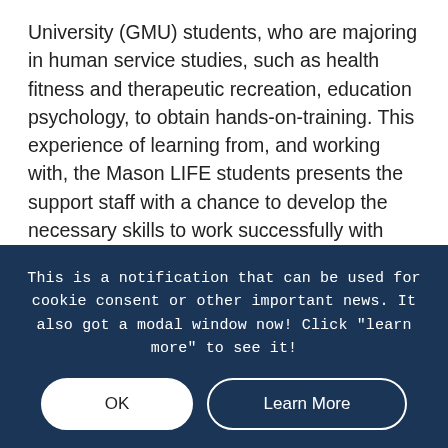University (GMU) students, who are majoring in human service studies, such as health fitness and therapeutic recreation, education psychology, to obtain hands-on-training. This experience of learning from, and working with, the Mason LIFE students presents the support staff with a chance to develop the necessary skills to work successfully with students with intellectual and developmental disabilities.
Under the College of Education and Human Development and the Kellar Institute for Human DisAbilities, the Mason LIFE program (MLP) began as a
This is a notification that can be used for cookie consent or other important news. It also got a modal window now! Click "learn more" to see it!